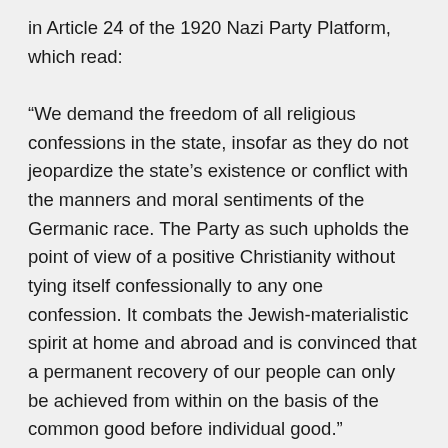in Article 24 of the 1920 Nazi Party Platform, which read:

“We demand the freedom of all religious confessions in the state, insofar as they do not jeopardize the state’s existence or conflict with the manners and moral sentiments of the Germanic race. The Party as such upholds the point of view of a positive Christianity without tying itself confessionally to any one confession. It combats the Jewish-materialistic spirit at home and abroad and is convinced that a permanent recovery of our people can only be achieved from within on the basis of the common good before individual good.”